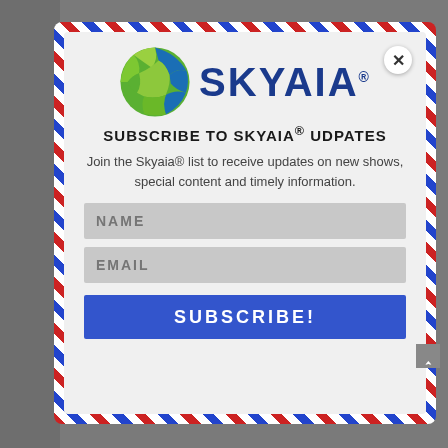[Figure (logo): Skyaia logo with green and blue globe icon and SKYAIA text in dark blue]
SUBSCRIBE TO SKYAIA® UDPATES
Join the Skyaia® list to receive updates on new shows, special content and timely information.